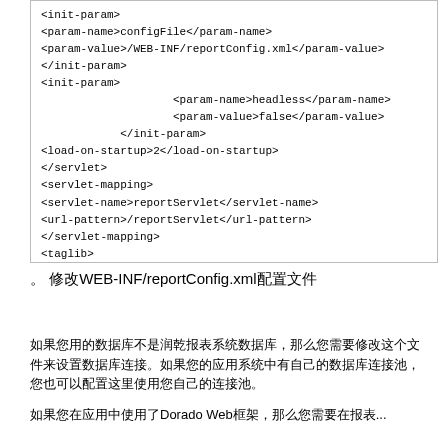<init-param>
<param-name>configFile</param-name>
<param-value>/WEB-INF/reportConfig.xml</param-value>
</init-param>
<init-param>
                    <param-name>headless</param-name>
                    <param-value>false</param-value>
            </init-param>
<load-on-startup>2</load-on-startup>
</servlet>
<servlet-mapping>
<servlet-name>reportServlet</servlet-name>
<url-pattern>/reportServlet</url-pattern>
</servlet-mapping>
<taglib>
<taglib-uri>/WEB-INF/runqianReport4.tld</taglib-uri>
<taglib-location>/WEB-INF/runqianReport4.tld</taglib-l
</taglib>
</web-app>
。 修改WEB-INF/reportConfig.xml配置文件
如果您用的数据库不是润乾报表系统数据库，那么您需要修改这个文件来设置数据库连接。如果您的应用系统中有自己的数据库连接池，您也可以配置这里使用您自己的连接池。
如果您在应用中使用了DoradoWeb框架，那么您需要在报表...